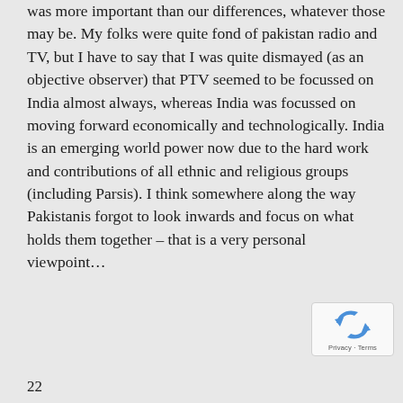was more important than our differences, whatever those may be. My folks were quite fond of pakistan radio and TV, but I have to say that I was quite dismayed (as an objective observer) that PTV seemed to be focussed on India almost always, whereas India was focussed on moving forward economically and technologically. India is an emerging world power now due to the hard work and contributions of all ethnic and religious groups (including Parsis). I think somewhere along the way Pakistanis forgot to look inwards and focus on what holds them together – that is a very personal viewpoint…
[Figure (logo): reCAPTCHA badge with Privacy and Terms text]
22